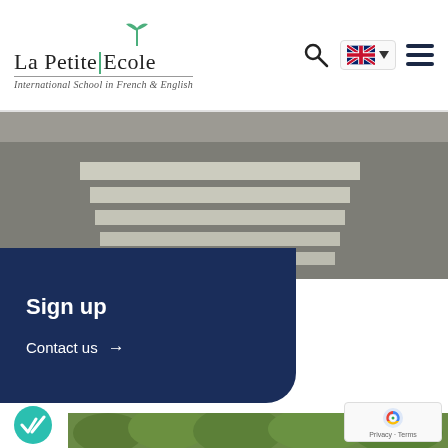[Figure (logo): La Petite Ecole logo with palm tree icon, text 'La Petite Ecole' and subtitle 'International School in French & English']
[Figure (photo): Aerial/close-up view of a pedestrian crosswalk (zebra crossing) on asphalt road]
Sign up
Contact us →
[Figure (photo): Partial view of trees/greenery with a teal checkmark circle badge overlay, and reCAPTCHA Privacy-Terms badge in bottom right]